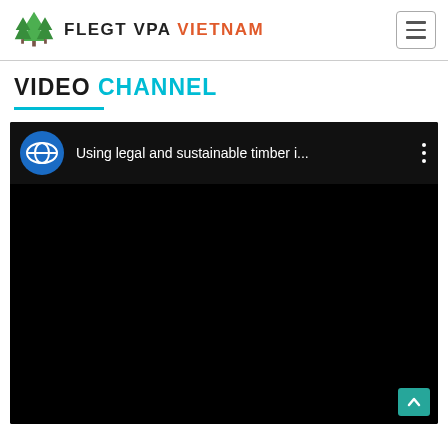FLEGT VPA VIETNAM
VIDEO CHANNEL
[Figure (screenshot): Embedded video player showing a YouTube-style video titled 'Using legal and sustainable timber i...' with a blue circular logo icon on the left, video controls, and a mostly black video content area. A teal scroll-to-top button appears in the bottom right corner.]